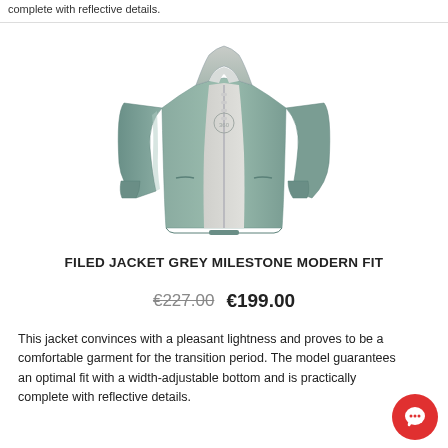complete with reflective details.
[Figure (photo): Grey milestone modern fit filed jacket, open zipper, light grey inner lining visible, long sleeves, standalone product shot on white background]
FILED JACKET GREY MILESTONE MODERN FIT
€227.00  €199.00
This jacket convinces with a pleasant lightness and proves to be a comfortable garment for the transition period. The model guarantees an optimal fit with a width-adjustable bottom and is practically complete with reflective details.